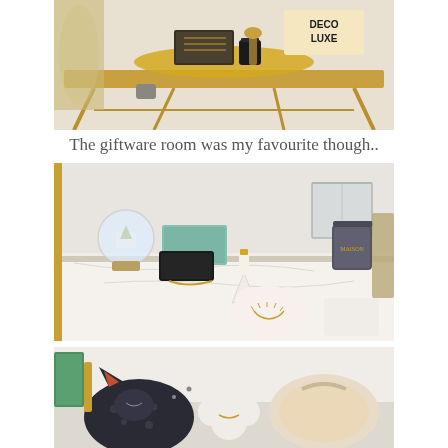[Figure (photo): A gold console table displaying luxury home decor items including a mirrored tray with candle and decorative objects, with a 'DECO LUXE' sign visible in the background.]
The giftware room was my favourite though..
[Figure (photo): A shelf display of giftware items including a snow globe, teal/mint colored box, small handbag, ceramic Christmas tree figures, a glass geometric terrarium, grey candle jar, and a flower-shaped ceramic dish with eyelash design.]
[Figure (photo): Close-up of decorative cushions and accessories including a dark fox-shaped cushion with spots, a cloud-shaped item, and a cream/beige cushion or bag.]